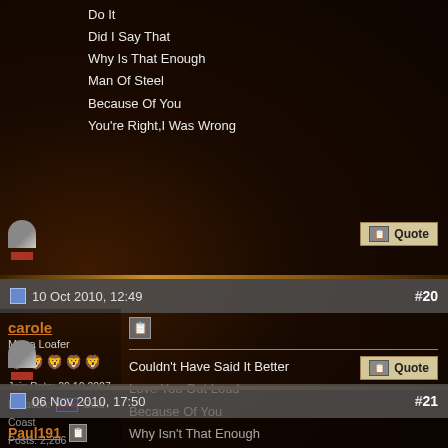Do It
Did I Say That
Why Is That Enough
Man Of Steel
Because Of You
You're Right,I Was Wrong
10 Oct 2010, 12:49   #20
carole
Mega Loafer
Join Date: 20.10.2007
Location: Gold Coast
Posts: 2,286
Couldn't Have Said It Better
Love You Out Loud
Because Of You
Why Isn't That Enough
Man Of Steel
Unsaid
Decadent Wish
Tear Me Down
Did I Say That
Testify
You're Right I Was Wrong
Forever Young/Mercury Blues
Do It
06 Nov 2010, 17:50   #21
Paul191